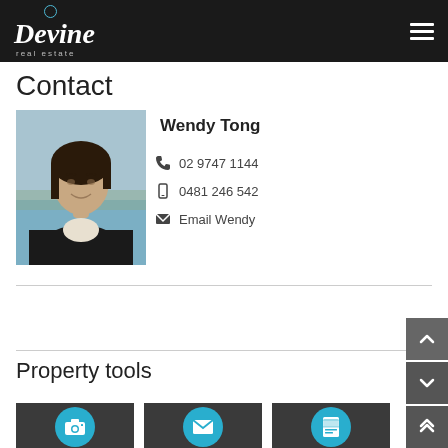Devine real estate
Contact
[Figure (photo): Headshot photo of Wendy Tong, a woman in a black blazer with background scenery]
Wendy Tong
02 9747 1144
0481 246 542
Email Wendy
Property tools
[Figure (illustration): Three dark-background tiles each with a cyan circle icon: camera, envelope, and document/card icons representing property tools]
[Figure (illustration): Navigation arrows on right side]
[Figure (illustration): Double up-arrow navigation button on right side]